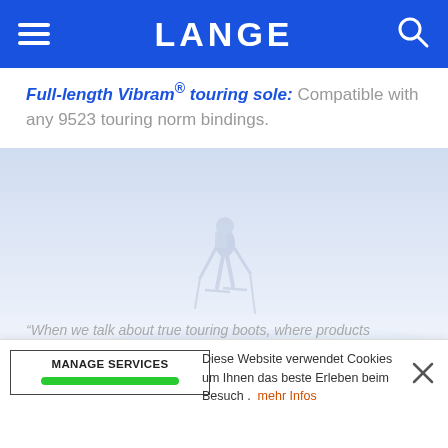LANGE
Full-length Vibram® touring sole: Compatible with any 9523 touring norm bindings.
[Figure (photo): Faded/washed-out background photo of a skier in a snowy mountain landscape, climbing with ski poles]
"When we talk about true touring boots, where products
Diese Website verwendet Cookies um Ihnen das beste Erleben beim Besuch. mehr Infos